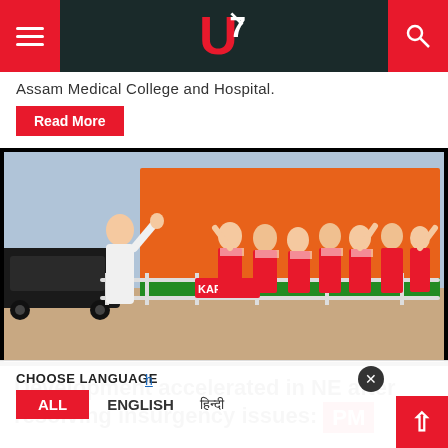News website header with hamburger menu, logo (U7), and search icon
Assam Medical College and Hospital.
Read More
[Figure (photo): PM Modi waving to a crowd of women in traditional red and white Karbi attire at an outdoor event, with an orange banner in the background and a black SUV on the left.]
Development accelerated in NE after resolving insurgency issues: PM
CHOOSE LANGUAGE | ALL | ENGLISH | हिन्दी